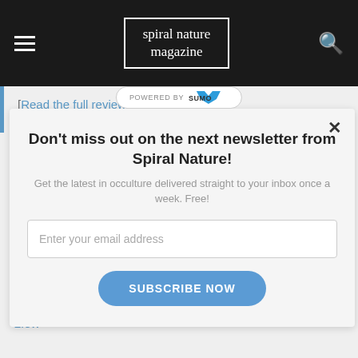spiral nature magazine
[Read the full review.]
16. Magic of Isis: A Book of Powerful Incantations and Prayers, by Alana Fairchild, illustrated by Jimmy Manton
Llew
[Figure (screenshot): Modal popup: Don't miss out on the next newsletter from Spiral Nature! Get the latest in occulture delivered straight to your inbox once a week. Free! Email input and SUBSCRIBE NOW button. Powered by Sumo badge.]